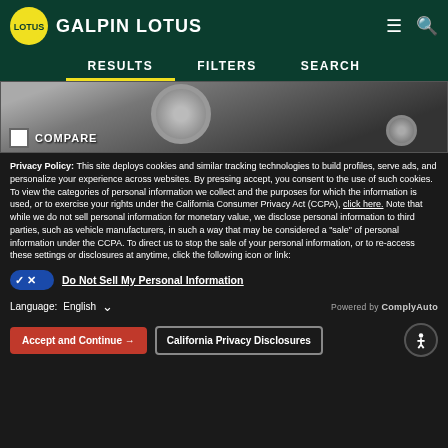GALPIN LOTUS
RESULTS   FILTERS   SEARCH
[Figure (photo): Partial view of a dark car showing the wheel and lower body, with a COMPARE checkbox overlay]
Privacy Policy: This site deploys cookies and similar tracking technologies to build profiles, serve ads, and personalize your experience across websites. By pressing accept, you consent to the use of such cookies. To view the categories of personal information we collect and the purposes for which the information is used, or to exercise your rights under the California Consumer Privacy Act (CCPA), click here. Note that while we do not sell personal information for monetary value, we disclose personal information to third parties, such as vehicle manufacturers, in such a way that may be considered a "sale" of personal information under the CCPA. To direct us to stop the sale of your personal information, or to re-access these settings or disclosures at anytime, click the following icon or link:
Do Not Sell My Personal Information
Language:  English
Powered by ComplyAuto
Accept and Continue →   California Privacy Disclosures